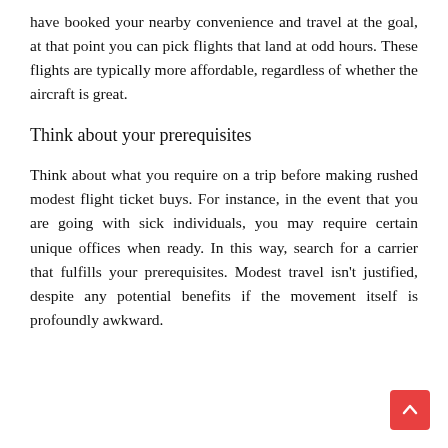have booked your nearby convenience and travel at the goal, at that point you can pick flights that land at odd hours. These flights are typically more affordable, regardless of whether the aircraft is great.
Think about your prerequisites
Think about what you require on a trip before making rushed modest flight ticket buys. For instance, in the event that you are going with sick individuals, you may require certain unique offices when ready. In this way, search for a carrier that fulfills your prerequisites. Modest travel isn't justified, despite any potential benefits if the movement itself is profoundly awkward.